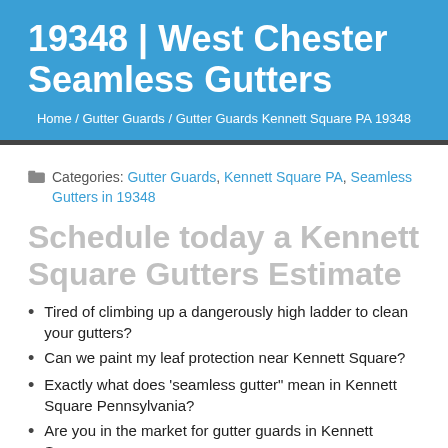19348 | West Chester Seamless Gutters
Home / Gutter Guards / Gutter Guards Kennett Square PA 19348
Categories: Gutter Guards, Kennett Square PA, Seamless Gutters in 19348
Schedule today a Kennett Square Gutters Estimate
Tired of climbing up a dangerously high ladder to clean your gutters?
Can we paint my leaf protection near Kennett Square?
Exactly what does 'seamless gutter" mean in Kennett Square Pennsylvania?
Are you in the market for gutter guards in Kennett Square